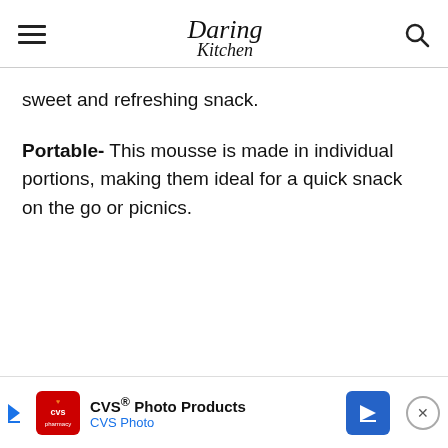Daring Kitchen
sweet and refreshing snack.
Portable- This mousse is made in individual portions, making them ideal for a quick snack on the go or picnics.
[Figure (screenshot): CVS Photo Products advertisement banner at the bottom of the page]